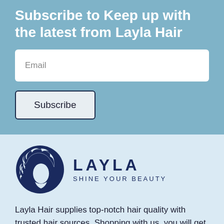Subscribe to Keep up with the latest from Layla Hair
Email
Subscribe
[Figure (logo): Layla Hair logo with circular hair illustration and text LAYLA SHINE YOUR BEAUTY]
Layla Hair supplies top-notch hair quality with trusted hair sources. Shopping with us, you will get the best deal